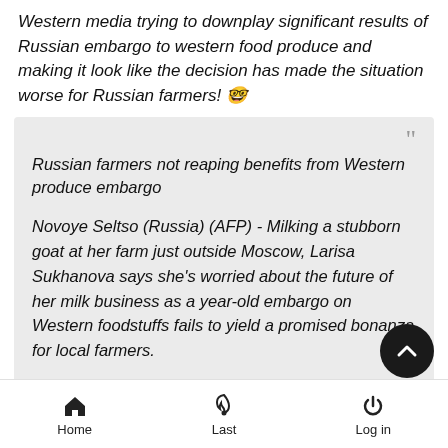Western media trying to downplay significant results of Russian embargo to western food produce and making it look like the decision has made the situation worse for Russian farmers! 😎
Russian farmers not reaping benefits from Western produce embargo

Novoye Seltso (Russia) (AFP) - Milking a stubborn goat at her farm just outside Moscow, Larisa Sukhanova says she's worried about the future of her milk business as a year-old embargo on Western foodstuffs fails to yield a promised bonanza for local farmers.

While authorities present the embargo enacted in
Home   Last   Log in